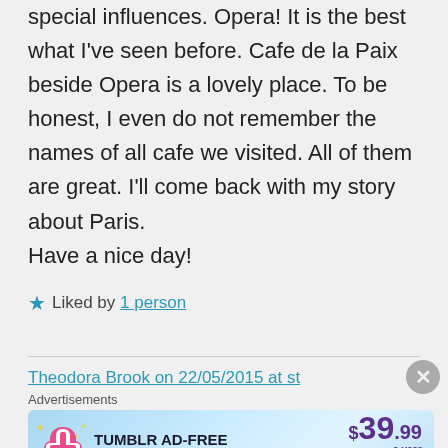special influences. Opera! It is the best what I've seen before. Cafe de la Paix beside Opera is a lovely place. To be honest, I even do not remember the names of all cafe we visited. All of them are great. I'll come back with my story about Paris.
Have a nice day!
★ Liked by 1 person
Theodora Brook on 22/05/2015 at st
Advertisements
[Figure (infographic): Tumblr Ad-Free Browsing advertisement banner showing $39.99 a year or $4.99 a month pricing with Tumblr logo]